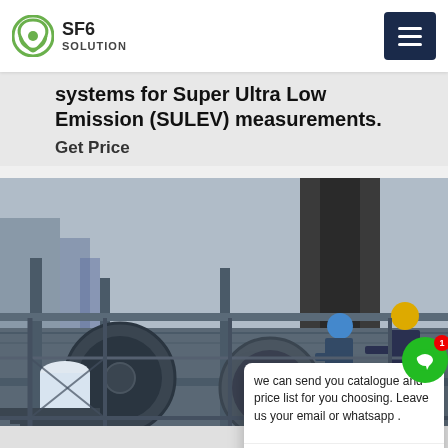SF6 SOLUTION
systems for Super Ultra Low Emission (SULEV) measurements.
Get Price
[Figure (photo): Industrial photo showing workers in safety gear (yellow and blue helmets) performing maintenance on large electrical or mechanical equipment (likely SF6 gas-insulated switchgear or transformer) on a steel platform structure. A chat popup overlay reads: 'we can send you catalogue and price list for you choosing. Leave us your email or whatsapp .' attributed to SF6 Expert.]